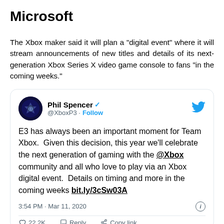Microsoft
The Xbox maker said it will plan a "digital event" where it will stream announcements of new titles and details of its next-generation Xbox Series X video game console to fans "in the coming weeks."
[Figure (screenshot): Embedded tweet from Phil Spencer (@XboxP3) with verified badge and Follow button. Tweet text: E3 has always been an important moment for Team Xbox. Given this decision, this year we'll celebrate the next generation of gaming with the @Xbox community and all who love to play via an Xbox digital event. Details on timing and more in the coming weeks bit.ly/3cSw03A. Posted at 3:54 PM · Mar 11, 2020. Actions: 22.2K likes, Reply, Copy link.]